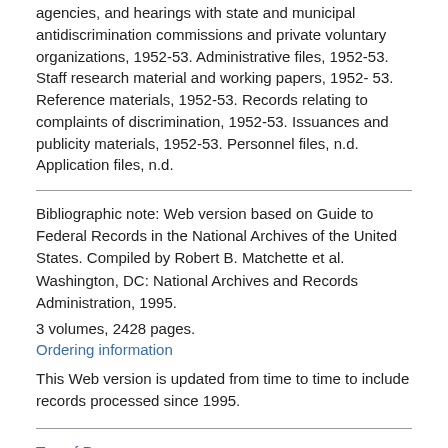agencies, and hearings with state and municipal antidiscrimination commissions and private voluntary organizations, 1952-53. Administrative files, 1952-53. Staff research material and working papers, 1952-53. Reference materials, 1952-53. Records relating to complaints of discrimination, 1952-53. Issuances and publicity materials, 1952-53. Personnel files, n.d. Application files, n.d.
Bibliographic note: Web version based on Guide to Federal Records in the National Archives of the United States. Compiled by Robert B. Matchette et al. Washington, DC: National Archives and Records Administration, 1995.
3 volumes, 2428 pages.
Ordering information
This Web version is updated from time to time to include records processed since 1995.
Top of Page